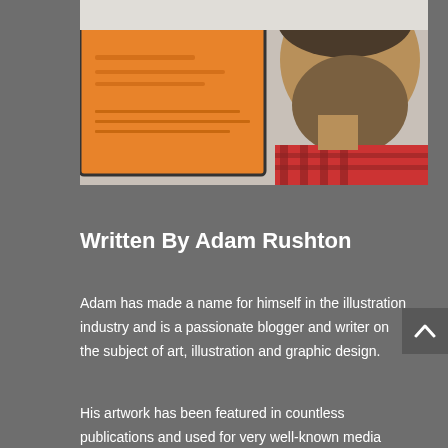[Figure (photo): A bearded man looking down at a tablet with an orange interface, wearing a red plaid shirt. Close-up side profile photo.]
Written By Adam Rushton
Adam has made a name for himself in the illustration industry and is a passionate blogger and writer on the subject of art, illustration and graphic design.
His artwork has been featured in countless publications and used for very well-known media